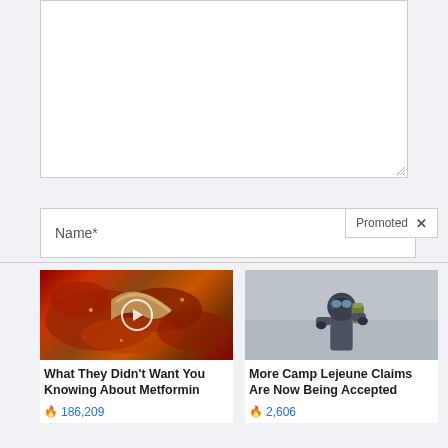[Figure (screenshot): Empty white textarea input box with resize handle at bottom-right corner]
Name*
Promoted X
[Figure (photo): Medical illustration showing intestinal parasites or tapeworm, with a video play button overlay]
What They Didn't Want You Knowing About Metformin
🔥 186,209
[Figure (photo): Person in full hazmat suit with gas mask and protective goggles, holding a canister]
More Camp Lejeune Claims Are Now Being Accepted
🔥 2,606